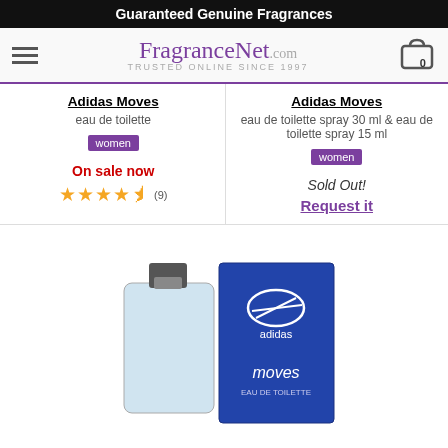Guaranteed Genuine Fragrances
[Figure (logo): FragranceNet.com logo with hamburger menu and cart icon]
Adidas Moves
eau de toilette
women
On sale now
(9)
Adidas Moves
eau de toilette spray 30 ml & eau de toilette spray 15 ml
women
Sold Out!
Request it
[Figure (photo): Adidas Moves men fragrance bottle and box]
Adidas Moves
eau de toilette
men
2 sizes available
On sale now
(10)